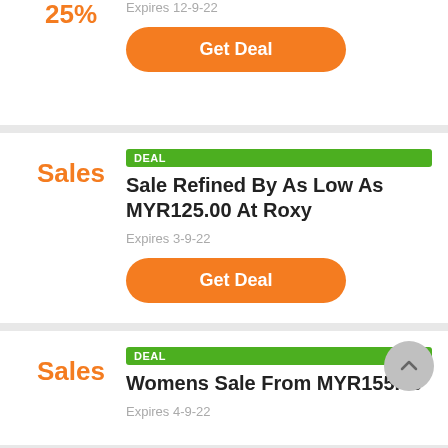25%
Expires 12-9-22
Get Deal
DEAL
Sale Refined By As Low As MYR125.00 At Roxy
Sales
Expires 3-9-22
Get Deal
DEAL
Womens Sale From MYR155.00
Sales
Expires 4-9-22